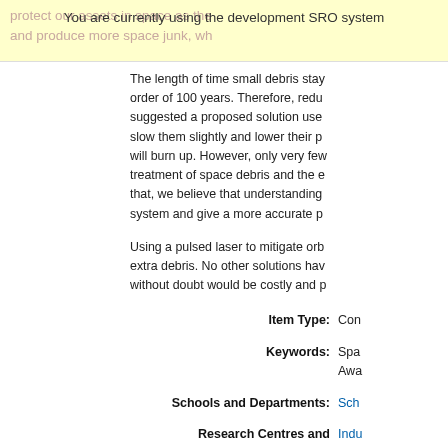You are currently using the development SRO system
The length of time small debris stays in orbit at this altitude is on the order of 100 years. Therefore, reducing the debris in this orbit is vital. It is suggested a proposed solution uses a pulsed laser system to hit the debris, slow them slightly and lower their perigee to a point where the atmosphere will burn up. However, only very few solutions have been proposed for the treatment of space debris and the exploration of this risk. In order to address that, we believe that understanding the debris environment will improve the system and give a more accurate picture of the risk.
Using a pulsed laser to mitigate orbital debris has the advantage of creating no extra debris. No other solutions have this characteristic, and all other solutions without doubt would be costly and prone to causing further debris.
Item Type:  Con
Keywords:  Spa
Awa
Schools and Departments:  Sch
Research Centres and Groups:  Indu
H S